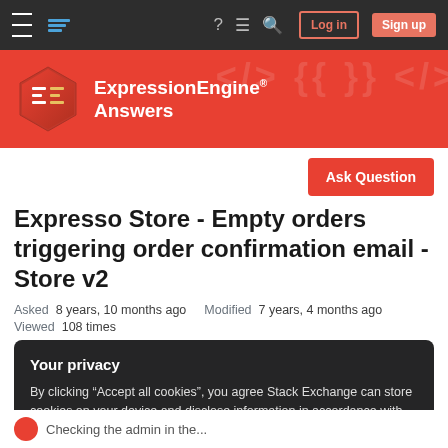Navigation bar with hamburger menu, StackExchange logo, help, chat, search icons, Log in and Sign up buttons
[Figure (logo): ExpressionEngine Answers logo - red hexagon with EE icon and white text 'ExpressionEngine® Answers' on red background]
Expresso Store - Empty orders triggering order confirmation email - Store v2
Asked 8 years, 10 months ago   Modified 7 years, 4 months ago
Viewed 108 times
Your privacy
By clicking "Accept all cookies", you agree Stack Exchange can store cookies on your device and disclose information in accordance with our Cookie Policy.
Accept all cookies   Customize settings
Checking the admin in the...